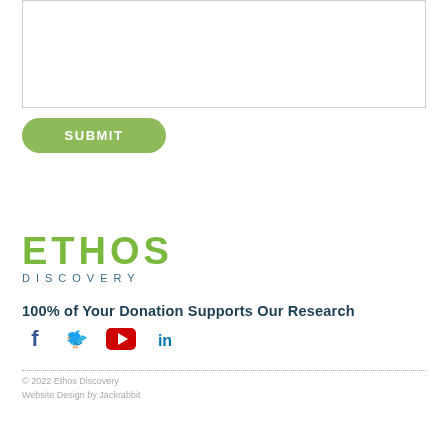[Figure (screenshot): A text area input box with a light grey border, empty, for user input on a web form.]
SUBMIT
[Figure (logo): Ethos Discovery logo: large green bold letters 'ETHOS' with 'DISCOVERY' in smaller teal spaced letters below.]
100% of Your Donation Supports Our Research
[Figure (infographic): Social media icons: Facebook (f), Twitter (bird), YouTube (play button, red), LinkedIn (in)]
© 2022 Ethos Discovery
Website Design by Jackrabbit